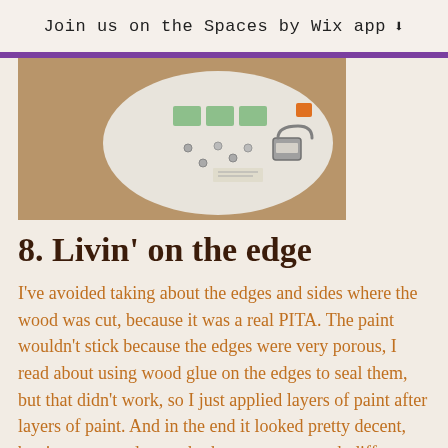Join us on the Spaces by Wix app ⬇
[Figure (photo): Top-down photo of hardware items, screws, and tools arranged on a white surface on a wooden table]
8. Livin' on the edge
I've avoided taking about the edges and sides where the wood was cut, because it was a real PITA. The paint wouldn't stick because the edges were very porous, I read about using wood glue on the edges to seal them, but that didn't work, so I just applied layers of paint after layers of paint. And in the end it looked pretty decent, but just not good enough, there was too much difference in color and texture with the rest of the wood.
9. Shiny..not happy